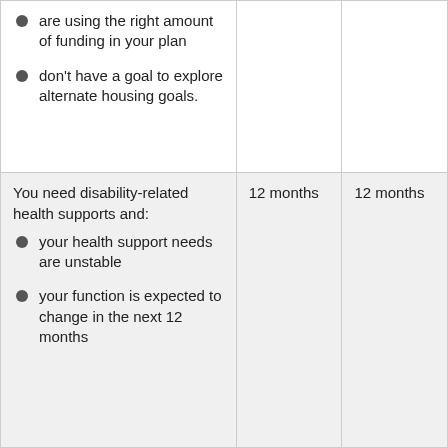| are using the right amount of funding in your plan
• don't have a goal to explore alternate housing goals. |  |  |
| You need disability-related health supports and:
• your health support needs are unstable
• your function is expected to change in the next 12 months | 12 months | 12 months |